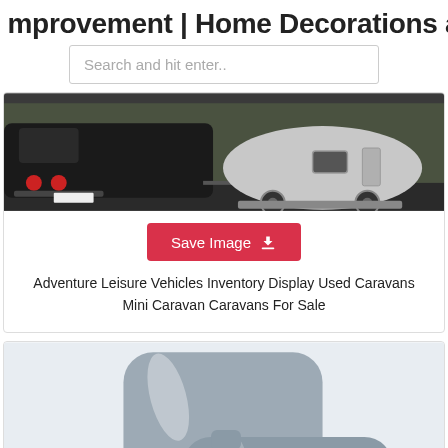mprovement | Home Decorations and
Search and hit enter..
[Figure (photo): Photo of a dark grey van with a teardrop-shaped silver caravan trailer attached, parked outdoors among trees]
Save Image
Adventure Leisure Vehicles Inventory Display Used Caravans Mini Caravan Caravans For Sale
[Figure (photo): Close-up photo of grey plastic clip or fastener components]